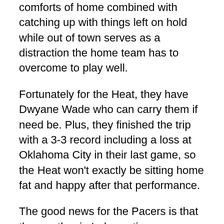comforts of home combined with catching up with things left on hold while out of town serves as a distraction the home team has to overcome to play well.
Fortunately for the Heat, they have Dwyane Wade who can carry them if need be. Plus, they finished the trip with a 3-3 record including a loss at Oklahoma City in their last game, so the Heat won't exactly be sitting home fat and happy after that performance.
The good news for the Pacers is that the weather in Indy continues churning out temperatures in the mid-30's and at last look, Miami will offer a little sunshine and temps in the mid to upper 70's. Hopefully the warmth will make its way to the shooting touch of the blue and gold, since they left a frigid 6 of 29 effort from